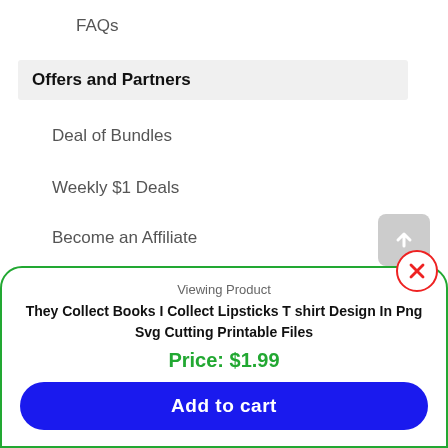FAQs
Offers and Partners
Deal of Bundles
Weekly $1 Deals
Become an Affiliate
Affiliate Login
Viewing Product
They Collect Books I Collect Lipsticks T shirt Design In Png Svg Cutting Printable Files
Price: $1.99
Add to cart